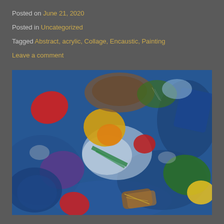Posted on June 21, 2020
Posted in Uncategorized
Tagged Abstract, acrylic, Collage, Encaustic, Painting
Leave a comment
[Figure (photo): Abstract mixed-media artwork featuring colorful shapes — red, yellow, purple, green, blue, orange — on a textured blue background, resembling an encaustic painting with collage elements.]